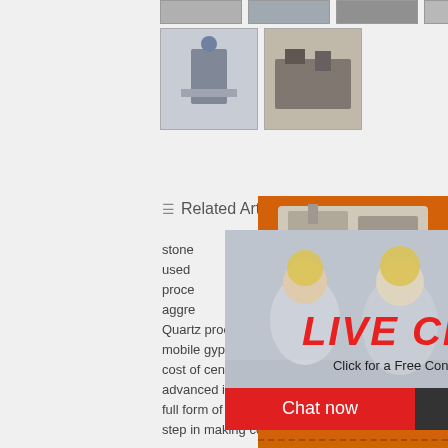[Figure (photo): Thumbnail images of stone crushing machinery equipment in top strip]
[Figure (photo): Two larger thumbnail images of stone processing equipment]
≡ Related Articles
stone
used
proce
aggre
Quartz processing equipment stone crusher
mobile gypsum crusher ieland
cost of centralized crushing plant
advanced industrial limestone impact crushers
full form of stone crusher
step in making conveyor belt
[Figure (photo): Live chat popup overlay showing workers in hard hats with LIVE CHAT text and Chat now / Chat later buttons]
[Figure (photo): Right sidebar with orange background showing stone crusher machinery images, 3% discount banner, Click to Chat, Enquiry section, and limingjlmofen@sina.com contact]